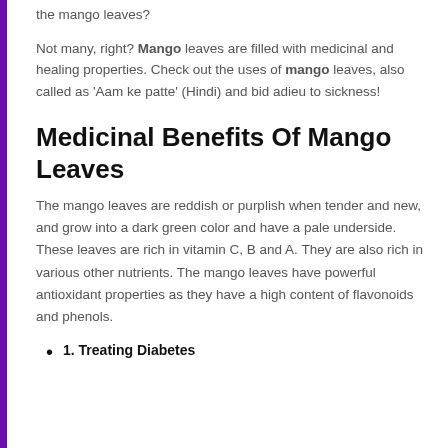the mango leaves?
Not many, right? Mango leaves are filled with medicinal and healing properties. Check out the uses of mango leaves, also called as ‘Aam ke patte’ (Hindi) and bid adieu to sickness!
Medicinal Benefits Of Mango Leaves
The mango leaves are reddish or purplish when tender and new, and grow into a dark green color and have a pale underside. These leaves are rich in vitamin C, B and A. They are also rich in various other nutrients. The mango leaves have powerful antioxidant properties as they have a high content of flavonoids and phenols.
1. Treating Diabetes